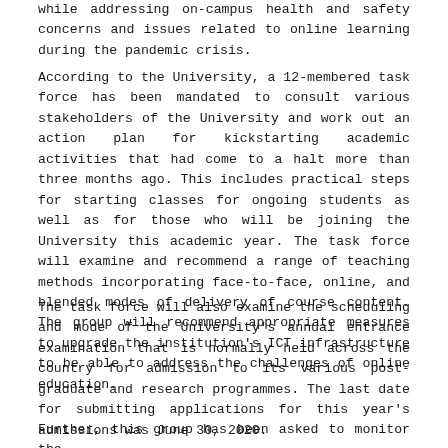while addressing on-campus health and safety concerns and issues related to online learning during the pandemic crisis.
According to the University, a 12-membered task force has been mandated to consult various stakeholders of the University and work out an action plan for kickstarting academic activities that had come to a halt more than three months ago. This includes practical steps for starting classes for ongoing students as well as for those who will be joining the University this academic year. The task force will examine and recommend a range of teaching methods incorporating face-to-face, online, and blended modes of delivery of course content. The group will recommend appropriate measures to upgrade the institution's ICT infrastructure to be able to address the challenges of online education.
The task force will also examine the scheduling and mode of the University's annual entrance examination that is normally held across the country for admission to its various post-graduate and research programmes. The last date for submitting applications for this year's admissions was June 30, 2020.
Further, this group has been asked to monitor the